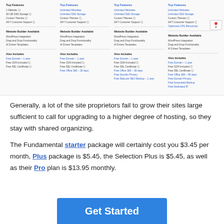[Figure (screenshot): Screenshot of a hosting plan comparison table showing four columns with Top Features, Website Builder Available, Also Includes sections and a small sidebar widget]
Generally, a lot of the site proprietors fail to grow their sites large sufficient to call for upgrading to a higher degree of hosting, so they stay with shared organizing.
The Fundamental starter package will certainly cost you $3.45 per month, Plus package is $5.45, the Selection Plus is $5.45, as well as their Pro plan is $13.95 monthly.
[Figure (other): Blue Get Started button]